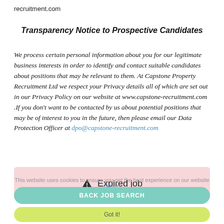recruitment.com
Transparency Notice to Prospective Candidates
We process certain personal information about you for our legitimate business interests in order to identify and contact suitable candidates about positions that may be relevant to them. At Capstone Property Recruitment Ltd we respect your Privacy details all of which are set out in our Privacy Policy on our website at www.capstone-recruitment.com .If you don't want to be contacted by us about potential positions that may be of interest to you in the future, then please email our Data Protection Officer at dpo@capstone-recruitment.com
⚠ Expired job
This website uses cookies to ensure you get the best experience on our website More
BACK JOB SEARCH
Got it!